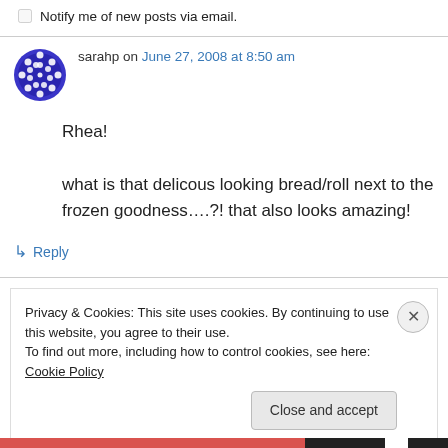Notify me of new posts via email.
sarahp on June 27, 2008 at 8:50 am
Rhea!

what is that delicous looking bread/roll next to the frozen goodness….?! that also looks amazing!
↳ Reply
Privacy & Cookies: This site uses cookies. By continuing to use this website, you agree to their use.
To find out more, including how to control cookies, see here: Cookie Policy
Close and accept